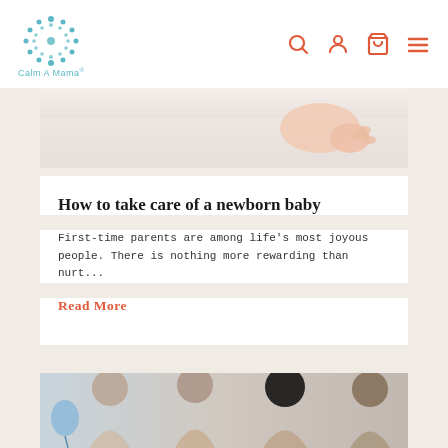Calm A Mama
[Figure (photo): Newborn baby lying on white surface, close-up of hands]
How to take care of a newborn baby
First-time parents are among life’s most joyous people. There is nothing more rewarding than nurt…
Read More
[Figure (photo): Group of smiling women, baby shower or gathering scene]